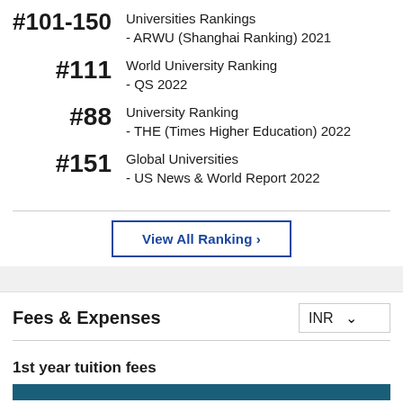#101-150 Universities Rankings - ARWU (Shanghai Ranking) 2021
#111 World University Ranking - QS 2022
#88 University Ranking - THE (Times Higher Education) 2022
#151 Global Universities - US News & World Report 2022
View All Ranking ›
Fees & Expenses
1st year tuition fees